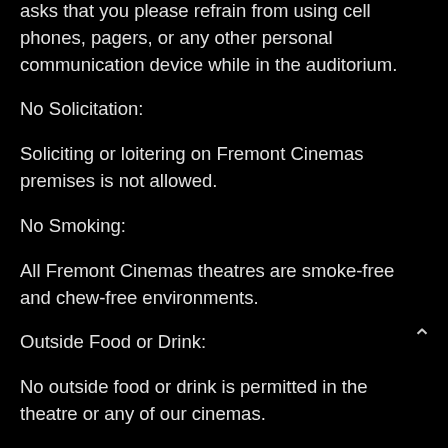asks that you please refrain from using cell phones, pagers, or any other personal communication device while in the auditorium.
No Solicitation:
Soliciting or loitering on Fremont Cinemas premises is not allowed.
No Smoking:
All Fremont Cinemas theatres are smoke-free and chew-free environments.
Outside Food or Drink:
No outside food or drink is permitted in the theatre or any of our cinemas.
3-D Presentations:
Films in 3-D may not be available at all locations. In some cases, theatre locations may show a particular